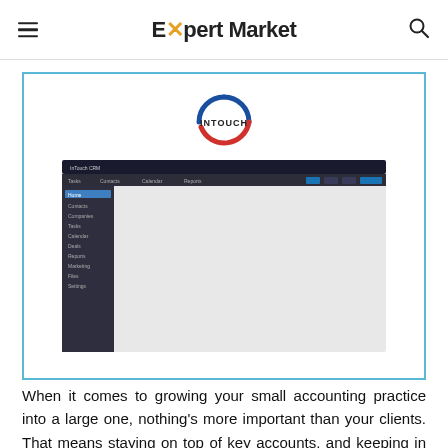Expert Market
[Figure (logo): InTouch CRM circular logo with text INTOUCH, blue and red arcs forming a circle]
[Figure (screenshot): Screenshot of InTouch CRM software showing a task/contacts list view with a dark top navigation bar and tabular data rows]
When it comes to growing your small accounting practice into a large one, nothing's more important than your clients. That means staying on top of key accounts, and keeping in touch with your biggest